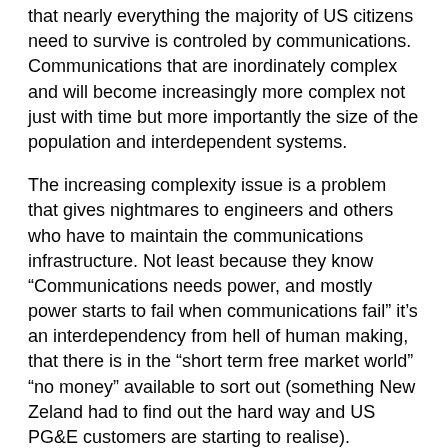that nearly everything the majority of US citizens need to survive is controled by communications. Communications that are inordinately complex and will become increasingly more complex not just with time but more importantly the size of the population and interdependent systems.
The increasing complexity issue is a problem that gives nightmares to engineers and others who have to maintain the communications infrastructure. Not least because they know “Communications needs power, and mostly power starts to fail when communications fail” it’s an interdependency from hell of human making, that there is in the “short term free market world” “no money” available to sort out (something New Zeland had to find out the hard way and US PG&E customers are starting to realise).
But importantly as complexity rises the number of side channels available rises faster. Thus the opportunity to get around controls increases. Realistically communications in the US is beyond “central control” to the level required for even a half harted attempt at censorship. It’s a problem that is not lost on those who benifit from section 230 of the Communications Decency Act to actually remain in business.